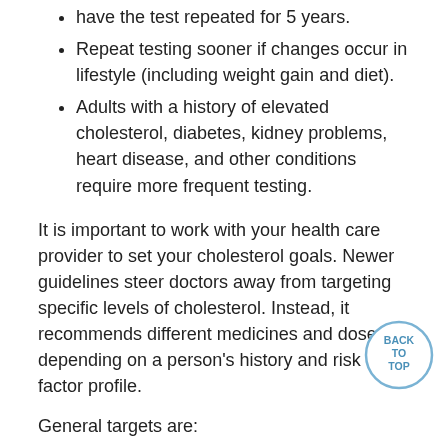have the test repeated for 5 years.
Repeat testing sooner if changes occur in lifestyle (including weight gain and diet).
Adults with a history of elevated cholesterol, diabetes, kidney problems, heart disease, and other conditions require more frequent testing.
It is important to work with your health care provider to set your cholesterol goals. Newer guidelines steer doctors away from targeting specific levels of cholesterol. Instead, it recommends different medicines and doses depending on a person's history and risk factor profile.
General targets are:
LDL: 70 to 130 mg/dL (lower numbers are better)
HDL: More than 50 mg/dL (high numbers are better)
Total cholesterol: Less than 200 mg/dL (lower